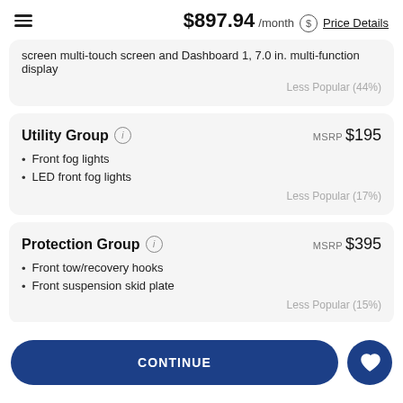$897.94 /month Price Details
screen multi-touch screen and Dashboard 1, 7.0 in. multi-function display
Less Popular (44%)
Utility Group
MSRP $195
Front fog lights
LED front fog lights
Less Popular (17%)
Protection Group
MSRP $395
Front tow/recovery hooks
Front suspension skid plate
Less Popular (15%)
CONTINUE